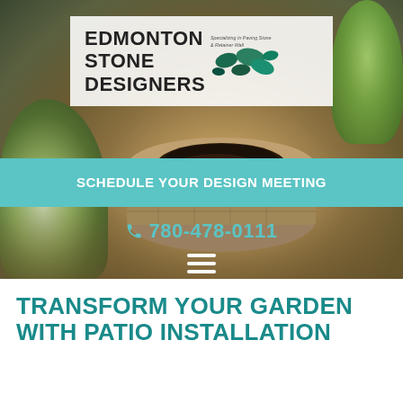[Figure (photo): Hero background photo of a stone circular fire pit on a paver patio, surrounded by green plants, with a stone retaining wall visible in the background. Green foliage visible on left and upper right.]
[Figure (logo): Edmonton Stone Designers logo — white/transparent box with bold text 'EDMONTON STONE DESIGNERS' and decorative stone graphic, plus tagline 'Specializing In Paving Stone & Retainer Wall']
SCHEDULE YOUR DESIGN MEETING
780-478-0111
TRANSFORM YOUR GARDEN WITH PATIO INSTALLATION